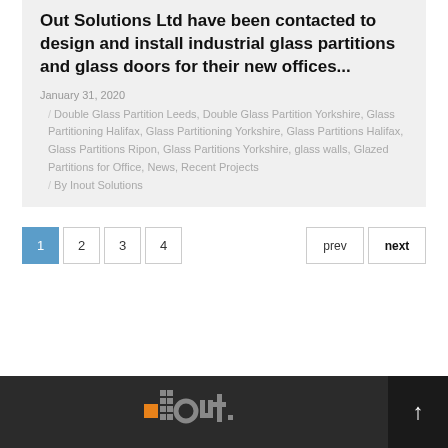Out Solutions Ltd have been contacted to design and install industrial glass partitions and glass doors for their new offices...
January 31, 2020
Double Glass Partition Leeds, Double Glass Partition Yorkshire, Glass Partitioning Halifax, Glass Partitioning Yorkshire, Glass Partitions Halifax, Glass Partitions Ripon, Glass Partitions Yorkshire, glass walls, Glazed Partitions for Office, News, Recent Projects
By Inout Solutions
1 2 3 4 prev next
[Figure (logo): Inout Solutions logo in white and orange on dark background]
↑ scroll to top button